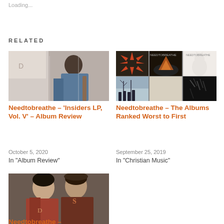Loading...
RELATED
[Figure (photo): Photo of a musician playing an instrument, muted tones]
Needtobreathe – 'Insiders LP, Vol. V' – Album Review
October 5, 2020
In "Album Review"
[Figure (photo): Grid of Needtobreathe album covers arranged in two rows of three]
Needtobreathe – The Albums Ranked Worst to First
September 25, 2019
In "Christian Music"
[Figure (photo): Photo of Needtobreathe band members, two people looking forward]
Needtobreathe –